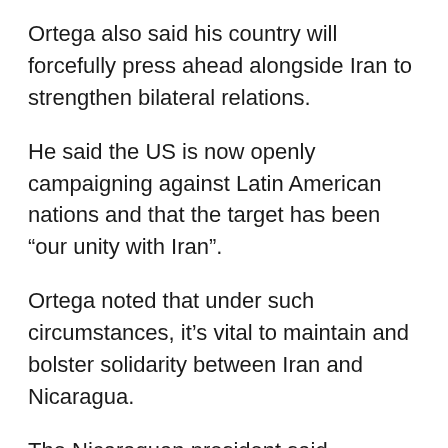Ortega also said his country will forcefully press ahead alongside Iran to strengthen bilateral relations.
He said the US is now openly campaigning against Latin American nations and that the target has been “our unity with Iran”.
Ortega noted that under such circumstances, it’s vital to maintain and bolster solidarity between Iran and Nicaragua.
The Nicaraguan president said awareness has increased worldwide, adding, “We need to empower the cause of struggle for peace and